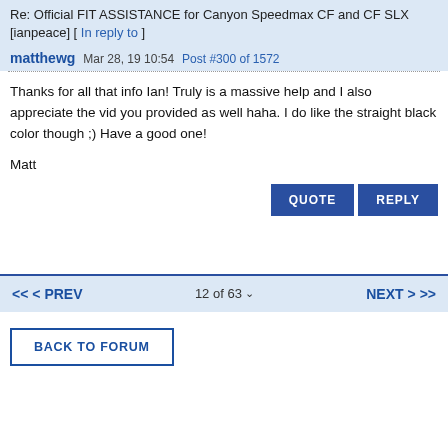Re: Official FIT ASSISTANCE for Canyon Speedmax CF and CF SLX [ianpeace] [ In reply to ]
matthewg  Mar 28, 19 10:54  Post #300 of 1572
Thanks for all that info Ian! Truly is a massive help and I also appreciate the vid you provided as well haha. I do like the straight black color though ;) Have a good one!

Matt
QUOTE  REPLY
<< < PREV  12 of 63  NEXT > >>
BACK TO FORUM